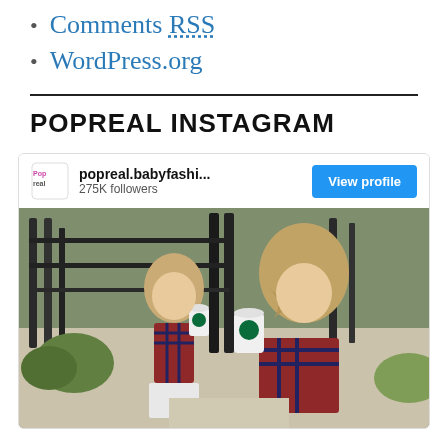Comments RSS
WordPress.org
POPREAL INSTAGRAM
[Figure (screenshot): Instagram widget showing popreal.babyfashi... account with 275K followers, a 'View profile' blue button, and a photo of a woman and young girl in matching plaid shirts drinking from Starbucks cups outdoors.]